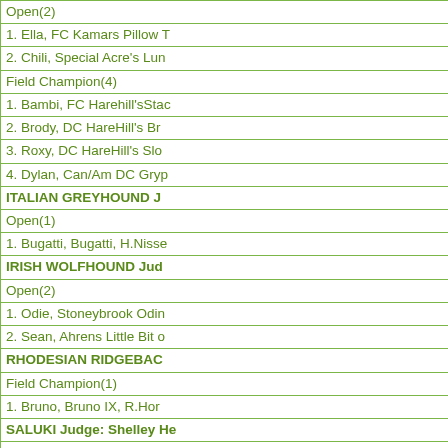| Open(2) |
| 1. Ella, FC Kamars Pillow T |
| 2. Chili, Special Acre's Lun |
| Field Champion(4) |
| 1. Bambi, FC Harehill'sStac |
| 2. Brody, DC HareHill's Br |
| 3. Roxy, DC HareHill's Slo |
| 4. Dylan, Can/Am DC Gryp |
| ITALIAN GREYHOUND J |
| Open(1) |
| 1. Bugatti, Bugatti, H.Nisse |
| IRISH WOLFHOUND Jud |
| Open(2) |
| 1. Odie, Stoneybrook Odin |
| 2. Sean, Ahrens Little Bit o |
| RHODESIAN RIDGEBAC |
| Field Champion(1) |
| 1. Bruno, Bruno IX, R.Hori |
| SALUKI Judge: Shelley He |
| Open(1) |
| 1. Joli, DC Farousi Jolnar V |
| Field Champion(5, 1 NQ) |
| 1. Vulcan, DC Windrush D |